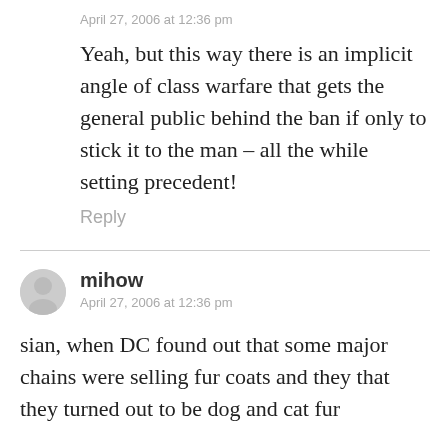April 27, 2006 at 12:36 pm
Yeah, but this way there is an implicit angle of class warfare that gets the general public behind the ban if only to stick it to the man – all the while setting precedent!
Reply
mihow
April 27, 2006 at 12:36 pm
sian, when DC found out that some major chains were selling fur coats and they that they turned out to be dog and cat fur